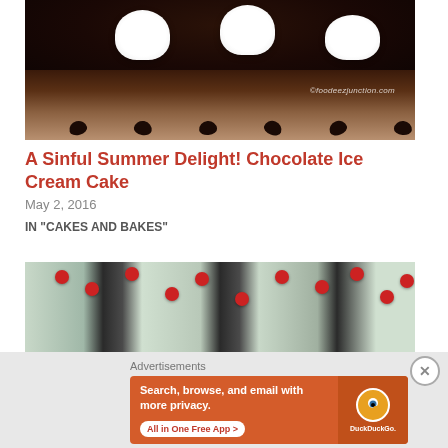[Figure (photo): A chocolate ice cream cake with white whipped cream rosettes on top and chocolate chips on the sides. Watermark reads ©foodeezjunction.com]
A Sinful Summer Delight! Chocolate Ice Cream Cake
May 2, 2016
IN "CAKES AND BAKES"
[Figure (photo): Ice cream cake with white cream, crushed dark cookies, and red M&M candies, shown from two angles side by side]
Advertisements
[Figure (screenshot): DuckDuckGo advertisement banner with orange background. Text: Search, browse, and email with more privacy. All in One Free App. Shows DuckDuckGo logo and phone graphic.]